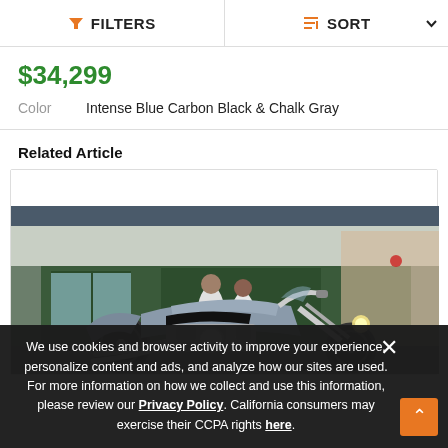FILTERS   SORT
$34,299
Color   Intense Blue Carbon Black & Chalk Gray
Related Article
[Figure (photo): A motorcycle (Indian Scout or similar cruiser) parked in front of a storefront with two people standing in the background.]
We use cookies and browser activity to improve your experience, personalize content and ads, and analyze how our sites are used. For more information on how we collect and use this information, please review our Privacy Policy. California consumers may exercise their CCPA rights here.